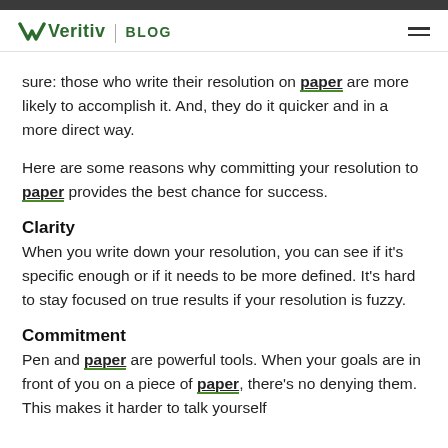Veritiv | BLOG
sure: those who write their resolution on paper are more likely to accomplish it. And, they do it quicker and in a more direct way.
Here are some reasons why committing your resolution to paper provides the best chance for success.
Clarity
When you write down your resolution, you can see if it's specific enough or if it needs to be more defined. It's hard to stay focused on true results if your resolution is fuzzy.
Commitment
Pen and paper are powerful tools. When your goals are in front of you on a piece of paper, there's no denying them. This makes it harder to talk yourself